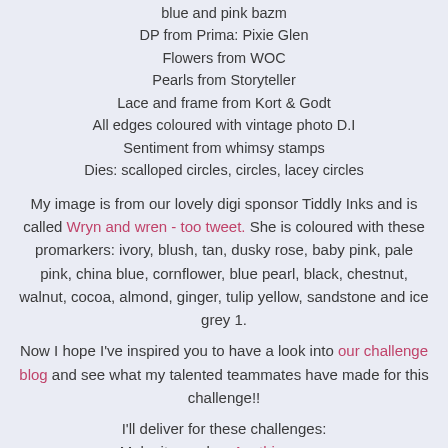blue and pink bazm
DP from Prima: Pixie Glen
Flowers from WOC
Pearls from Storyteller
Lace and frame from Kort & Godt
All edges coloured with vintage photo D.I
Sentiment from whimsy stamps
Dies: scalloped circles, circles, lacey circles
My image is from our lovely digi sponsor Tiddly Inks and is called Wryn and wren - too tweet. She is coloured with these promarkers: ivory, blush, tan, dusky rose, baby pink, pale pink, china blue, cornflower, blue pearl, black, chestnut, walnut, cocoa, almond, ginger, tulip yellow, sandstone and ice grey 1.
Now I hope I've inspired you to have a look into our challenge blog and see what my talented teammates have made for this challenge!!
I'll deliver for these challenges:
Make it monday: Anything goes
3sisters: Flowers